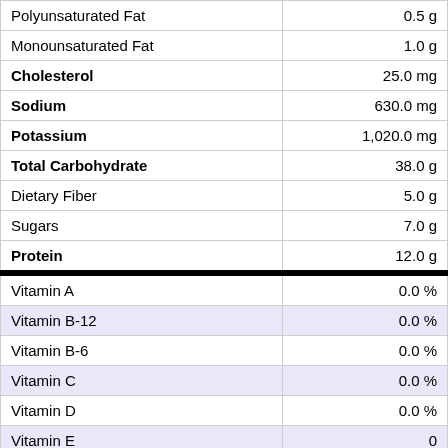| Nutrient | Amount |
| --- | --- |
| Polyunsaturated Fat | 0.5 g |
| Monounsaturated Fat | 1.0 g |
| Cholesterol | 25.0 mg |
| Sodium | 630.0 mg |
| Potassium | 1,020.0 mg |
| Total Carbohydrate | 38.0 g |
| Dietary Fiber | 5.0 g |
| Sugars | 7.0 g |
| Protein | 12.0 g |
| Vitamin A | 0.0 % |
| Vitamin B-12 | 0.0 % |
| Vitamin B-6 | 0.0 % |
| Vitamin C | 0.0 % |
| Vitamin D | 0.0 % |
| Vitamin E | 0 |